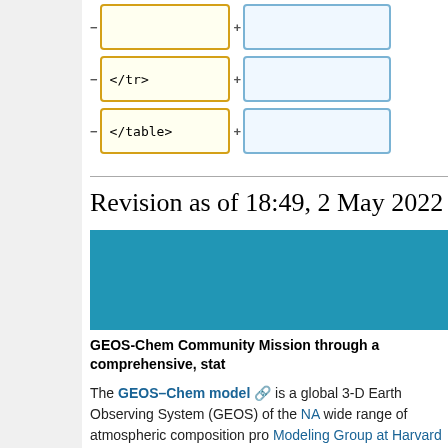[Figure (screenshot): Wikipedia diff view showing HTML table rows with minus/plus diff boxes. Three rows: empty row, </tr> row, </table> row, each with yellow (left/old) and blue (right/new) bordered boxes.]
Revision as of 18:49, 2 May 2022
[Figure (other): Blue banner/header bar for GEOS-Chem article]
GEOS-Chem Community Mission through a comprehensive, stat
The GEOS–Chem model is a global 3-D Earth Observing System (GEOS) of the NA wide range of atmospheric composition pro Modeling Group at Harvard University an